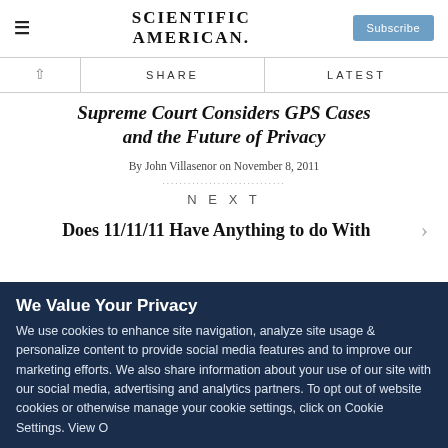SCIENTIFIC AMERICAN
Supreme Court Considers GPS Cases and the Future of Privacy
By John Villasenor on November 8, 2011
NEXT
Does 11/11/11 Have Anything to do With
We Value Your Privacy
We use cookies to enhance site navigation, analyze site usage & personalize content to provide social media features and to improve our marketing efforts. We also share information about your use of our site with our social media, advertising and analytics partners. To opt out of website cookies or otherwise manage your cookie settings, click on Cookie Settings. View Our